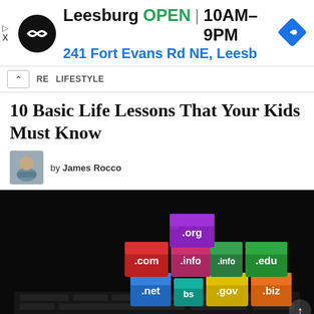[Figure (screenshot): Advertisement banner for a store in Leesburg showing logo, OPEN status, hours 10AM-9PM, address 241 Fort Evans Rd NE, Leesb, and a navigation arrow icon]
RE  LIFESTYLE
10 Basic Life Lessons That Your Kids Must Know
by James Rocco
[Figure (photo): Dark background image showing colorful 3D cubes on a laptop keyboard with internet domain extensions: .org (purple), .com (red), .info (pink/red), .info (green), .edu (green), .net (blue), .bs (teal), .gov (yellow), .biz (orange)]